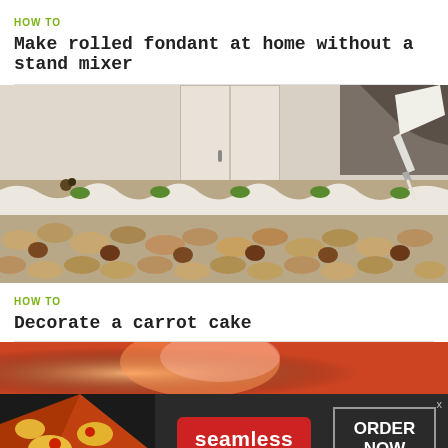HOW TO
Make rolled fondant at home without a stand mixer
[Figure (photo): Person using a piping bag to decorate a large decorated cake with nuts on the sides and green piped decorations on top]
HOW TO
Decorate a carrot cake
[Figure (photo): Partial view of another food/cake photo at the bottom of the page]
[Figure (infographic): Seamless food delivery advertisement banner with pizza image on left, seamless logo in red button in center, ORDER NOW button on right, dark background]